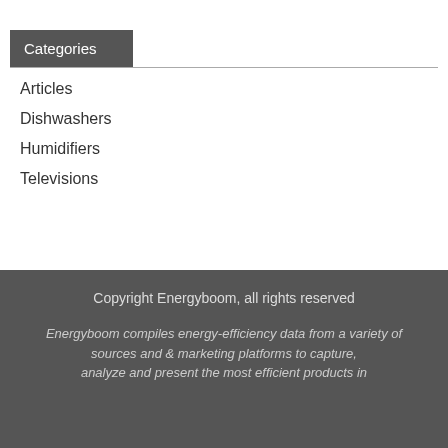Categories
Articles
Dishwashers
Humidifiers
Televisions
Copyright Energyboom, all rights reserved
Energyboom compiles energy-efficiency data from a variety of sources and & marketing platforms to capture,
analyze and present the most efficient products in